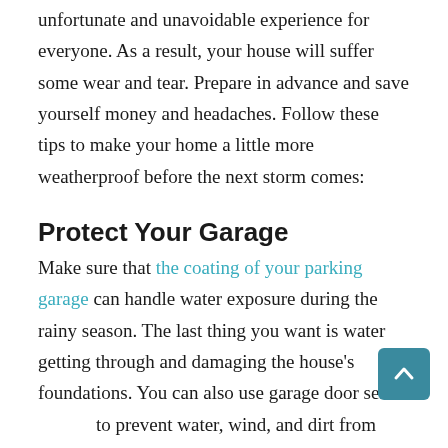unfortunate and unavoidable experience for everyone. As a result, your house will suffer some wear and tear. Prepare in advance and save yourself money and headaches. Follow these tips to make your home a little more weatherproof before the next storm comes:
Protect Your Garage
Make sure that the coating of your parking garage can handle water exposure during the rainy season. The last thing you want is water getting through and damaging the house's foundations. You can also use garage door se… to prevent water, wind, and dirt from getting in.